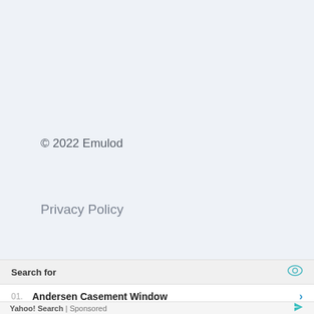© 2022 Emulod
Privacy Policy
Search for
01. Andersen Casement Window
02. Top Fleet Maintenance Softwares
Yahoo! Search | Sponsored